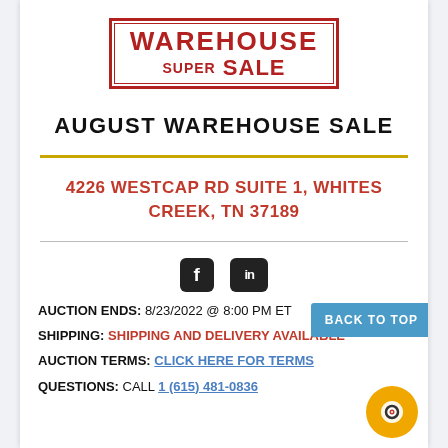[Figure (logo): Warehouse Super Sale stamp logo in red with double border]
AUGUST WAREHOUSE SALE
4226 WESTCAP RD SUITE 1, WHITES CREEK, TN 37189
[Figure (illustration): Facebook and LinkedIn social media icons]
AUCTION ENDS: 8/23/2022 @ 8:00 PM ET
SHIPPING: SHIPPING AND DELIVERY AVAILABLE
AUCTION TERMS: CLICK HERE FOR TERMS
QUESTIONS: CALL 1 (615) 481-0836